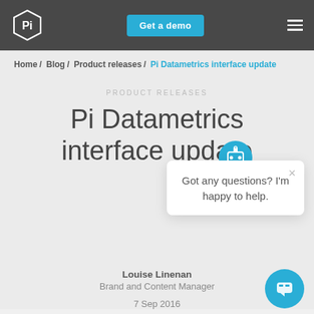Pi | Get a demo
Home / Blog / Product releases / Pi Datametrics interface update
PRODUCT RELEASES
Pi Datametrics interface update
Got any questions? I'm happy to help.
Louise Linenan
Brand and Content Manager
7 Sep 2016